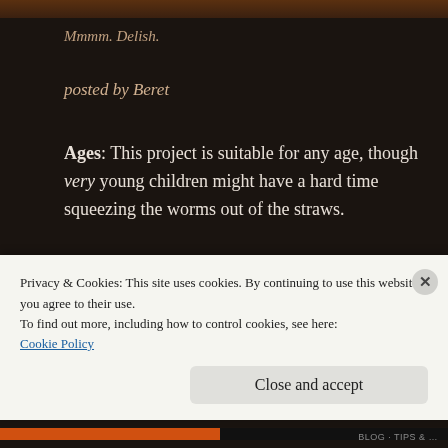[Figure (photo): Partial image strip at top of page showing food/craft item]
Mmmm. Delish.
posted by Beret
Ages:  This project is suitable for any age, though very young children might have a hard time squeezing the worms out of the straws.
At first glance, this project may seem better suited to the Halloween season. It would certainly be fun then as well. In a few short
Privacy & Cookies: This site uses cookies. By continuing to use this website, you agree to their use.
To find out more, including how to control cookies, see here:
Cookie Policy
Close and accept